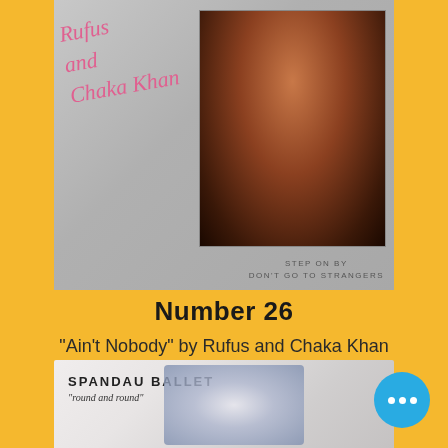[Figure (photo): Album cover for Rufus and Chaka Khan featuring a photo of Chaka Khan performing on stage, with cursive signature text and text reading 'STEP ON BY / DON'T GO TO STRANGERS' at the bottom]
Number 26
"Ain't Nobody" by Rufus and Chaka Khan
[Figure (photo): Album cover for Spandau Ballet 'round and round' showing abstract art with glass or crystal objects, with a blue circular more-options button overlaid in the bottom right]